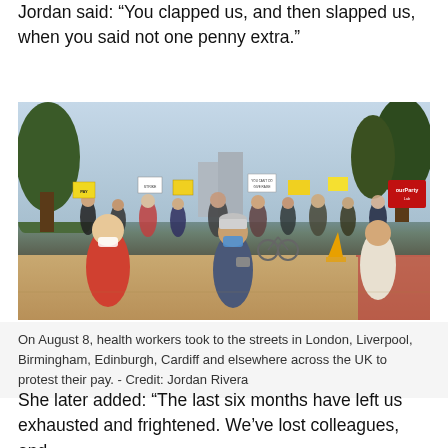Jordan said: “You clapped us, and then slapped us, when you said not one penny extra.”
[Figure (photo): A crowd of health workers and protesters marching in the street, holding signs and placards, with trees in the background and a red Labour Party banner visible. People are wearing masks. The scene appears to be a daytime outdoor protest on a wide road.]
On August 8, health workers took to the streets in London, Liverpool, Birmingham, Edinburgh, Cardiff and elsewhere across the UK to protest their pay. - Credit: Jordan Rivera
She later added: “The last six months have left us exhausted and frightened. We’ve lost colleagues, and